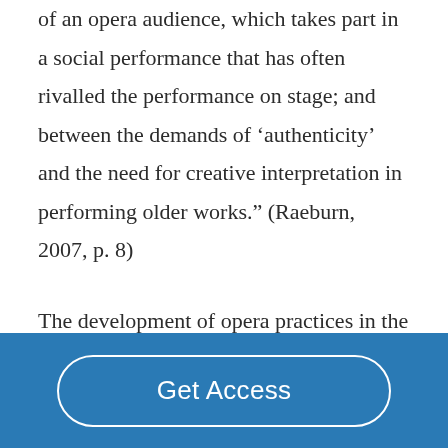of an opera audience, which takes part in a social performance that has often rivalled the performance on stage; and between the demands of ‘authenticity’ and the need for creative interpretation in performing older works.” (Raeburn, 2007, p. 8)

The development of opera practices in the seventeenth and eighteenth century is evidently affected by social, political,
Get Access